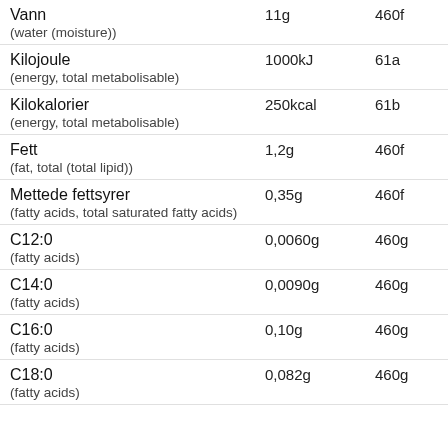| Name | Value | Code |
| --- | --- | --- |
| Vann
(water (moisture)) | 11g | 460f |
| Kilojoule
(energy, total metabolisable) | 1000kJ | 61a |
| Kilokalorier
(energy, total metabolisable) | 250kcal | 61b |
| Fett
(fat, total (total lipid)) | 1,2g | 460f |
| Mettede fettsyrer
(fatty acids, total saturated fatty acids) | 0,35g | 460f |
| C12:0
(fatty acids) | 0,0060g | 460g |
| C14:0
(fatty acids) | 0,0090g | 460g |
| C16:0
(fatty acids) | 0,10g | 460g |
| C18:0
(fatty acids) | 0,082g | 460g |